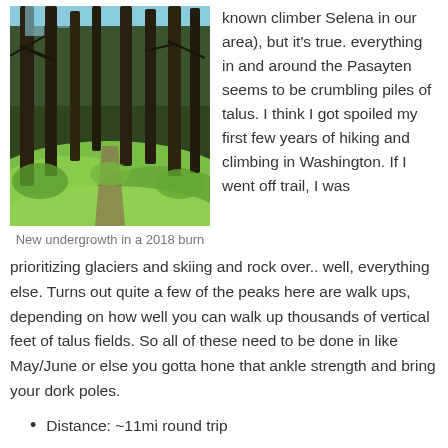[Figure (photo): Forest trail with lush green undergrowth (ferns/bushes) beneath tall burned/dark tree trunks, with blue sky visible above. A path winds through the verdant undergrowth. 2018 burn area.]
known climber Selena in our area), but it's true. everything in and around the Pasayten seems to be crumbling piles of talus. I think I got spoiled my first few years of hiking and climbing in Washington. If I went off trail, I was
New undergrowth in a 2018 burn
prioritizing glaciers and skiing and rock over.. well, everything else. Turns out quite a few of the peaks here are walk ups, depending on how well you can walk up thousands of vertical feet of talus fields. So all of these need to be done in like May/June or else you gotta hone that ankle strength and bring your dork poles.
Distance: ~11mi round trip
Elevation gain: ~6200ft total, 8500ft highest point